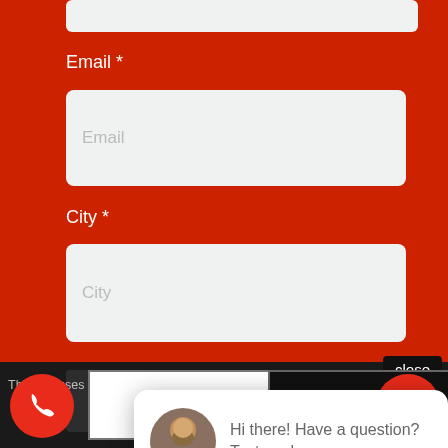Email *
[Figure (screenshot): Email input field with placeholder text 'Email']
City *
[Figure (screenshot): City input field with placeholder text 'City']
[Figure (screenshot): Submit button (dark grey)]
close
[Figure (screenshot): Chat popup with avatar and message: Hi there! Have a question? Text me here.]
This site uses cooki...
agreeing to our use of cookies.
[Figure (screenshot): OK button]
[Figure (screenshot): Learn more button]
[Figure (screenshot): Red phone circle button bottom left]
[Figure (screenshot): Red circle button bottom right]